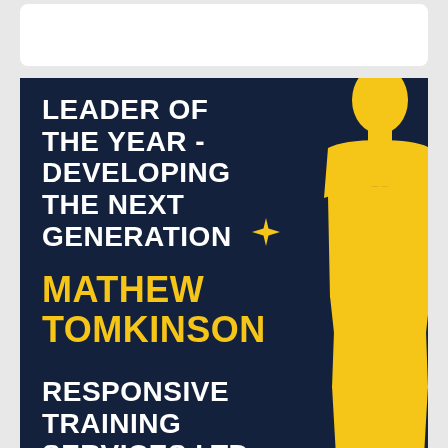[Figure (illustration): Award card with dark navy background showing 'Leader of The Year - Developing The Next Generation' award winner Mathew Tomkinson from Responsive Training Services Ltd, with a golden Oscar-like trophy silhouette on the right side.]
LEADER OF THE YEAR - DEVELOPING THE NEXT GENERATION
MATHEW TOMKINSON
RESPONSIVE TRAINING SERVICES LTD